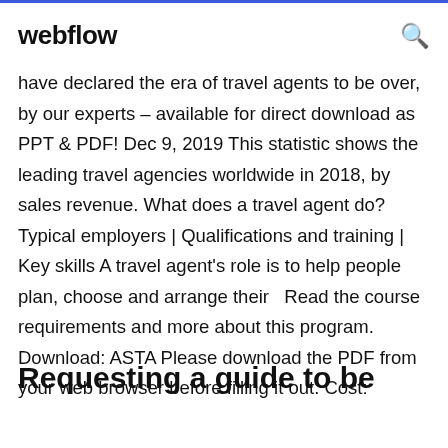webflow
have declared the era of travel agents to be over, by our experts – available for direct download as PPT & PDF! Dec 9, 2019 This statistic shows the leading travel agencies worldwide in 2018, by sales revenue. What does a travel agent do? Typical employers | Qualifications and training | Key skills A travel agent's role is to help people plan, choose and arrange their  Read the course requirements and more about this program. Download: ASTA Please download the PDF from your web browser before filling it out. Cost:
Requesting a guide to be